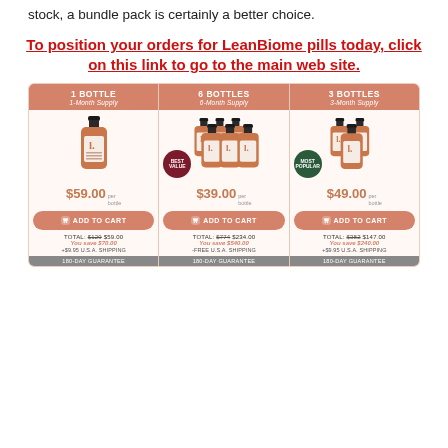stock, a bundle pack is certainly a better choice.
To position your orders for LeanBiome pills today, click on this link to go to the main web site.
[Figure (infographic): LeanBiome pricing infographic showing three bottle options: 1 Bottle (1-Month Supply) at $59.00 per bottle, Total $129→$59.00, You save $70.00, +$9.95 U.S.A. Shipping, 180-Day Guarantee; 6 Bottles (6-Month Supply) at $39.00 per bottle, Total $774→$234.00, You save $540.00, FREE U.S.A. Shipping, 180-Day Guarantee, BEST VALUE badge; 3 Bottles (3-Month Supply) at $49.00 per bottle, Total $382→$147.00, You save $240.00, +$9.95 U.S.A. Shipping, 180-Day Guarantee, MOST POPULAR badge. Each option has an ADD TO CART button.]